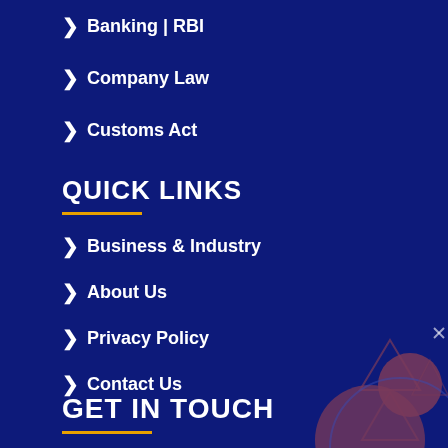Banking | RBI
Company Law
Customs Act
QUICK LINKS
Business & Industry
About Us
Privacy Policy
Contact Us
GET IN TOUCH